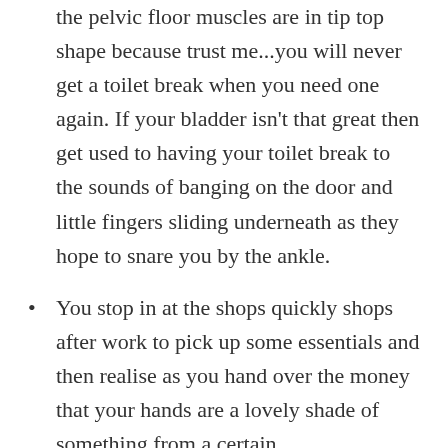You have superior bladder control and the pelvic floor muscles are in tip top shape because trust me...you will never get a toilet break when you need one again. If your bladder isn't that great then get used to having your toilet break to the sounds of banging on the door and little fingers sliding underneath as they hope to snare you by the ankle.
You stop in at the shops quickly shops after work to pick up some essentials and then realise as you hand over the money that your hands are a lovely shade of something from a certain